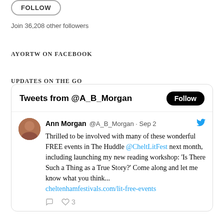Join 36,208 other followers
AYORTW ON FACEBOOK
UPDATES ON THE GO
[Figure (screenshot): Embedded Twitter widget showing tweets from @A_B_Morgan with a Follow button. Tweet by Ann Morgan (@A_B_Morgan, Sep 2): 'Thrilled to be involved with many of these wonderful FREE events in The Huddle @CheltLitFest next month, including launching my new reading workshop: Is There Such a Thing as a True Story? Come along and let me know what you think... cheltenhamfestivals.com/lit-free-events'. Tweet has 3 likes.]